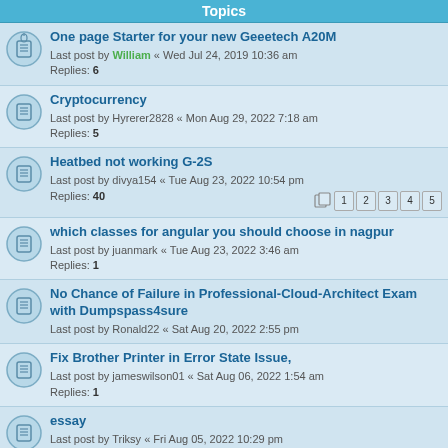Topics
One page Starter for your new Geeetech A20M
Last post by William « Wed Jul 24, 2019 10:36 am
Replies: 6
Cryptocurrency
Last post by Hyrerer2828 « Mon Aug 29, 2022 7:18 am
Replies: 5
Heatbed not working G-2S
Last post by divya154 « Tue Aug 23, 2022 10:54 pm
Replies: 40
which classes for angular you should choose in nagpur
Last post by juanmark « Tue Aug 23, 2022 3:46 am
Replies: 1
No Chance of Failure in Professional-Cloud-Architect Exam with Dumpspass4sure
Last post by Ronald22 « Sat Aug 20, 2022 2:55 pm
Fix Brother Printer in Error State Issue,
Last post by jameswilson01 « Sat Aug 06, 2022 1:54 am
Replies: 1
essay
Last post by Triksy « Fri Aug 05, 2022 10:29 pm
Replies: 1
What Does Revert Mean in QuickBooks?
Last post by Maddison Klocko « Fri Aug 05, 2022 6:43 pm
Replies: 1
When buying a new Geeetch (or other) 3D Printer
Last post by jamewilon22 « Fri Aug 05, 2022 2:08 am
Replies: 1
How-To Replace Belt on X-Axis on Mecreator
Last post by ...